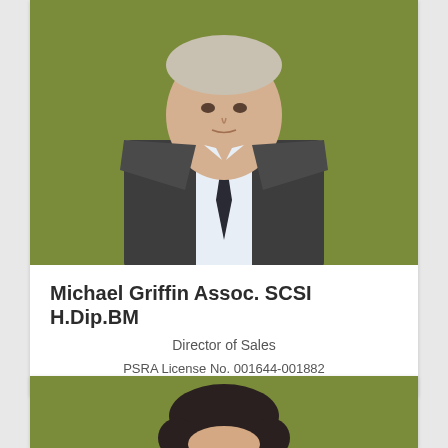[Figure (photo): Professional headshot of Michael Griffin wearing a grey suit and dark tie against a green background]
Michael Griffin Assoc. SCSI H.Dip.BM
Director of Sales
PSRA License No. 001644-001882
[Figure (photo): Partial headshot of a second person against a green background, only top of head visible]